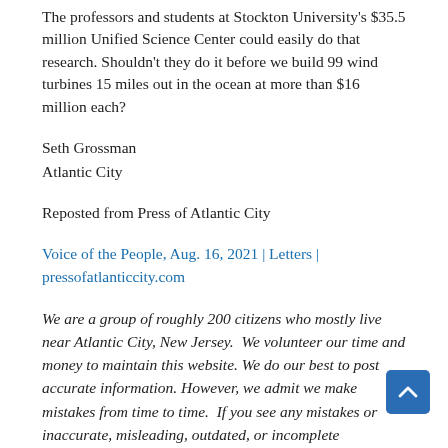The professors and students at Stockton University's $35.5 million Unified Science Center could easily do that research. Shouldn't they do it before we build 99 wind turbines 15 miles out in the ocean at more than $16 million each?
Seth Grossman
Atlantic City
Reposted from Press of Atlantic City
Voice of the People, Aug. 16, 2021 | Letters | pressofatlanticcity.com
We are a group of roughly 200 citizens who mostly live near Atlantic City, New Jersey.  We volunteer our time and money to maintain this website. We do our best to post accurate information. However, we admit we make mistakes from time to time.  If you see any mistakes or inaccurate, misleading, outdated, or incomplete information in this or any of our posts, please let us know. We will do our best to correct the problem as